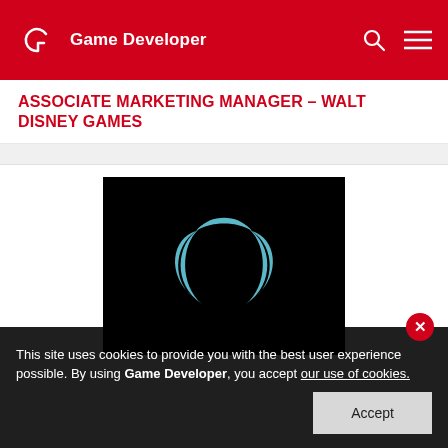Game Developer
ASSOCIATE MARKETING MANAGER – WALT DISNEY GAMES
[Figure (logo): Walt Disney Games logo — two curved teal crescent shapes forming a circular 'O' symbol on a black background]
This site uses cookies to provide you with the best user experience possible. By using Game Developer, you accept our use of cookies.